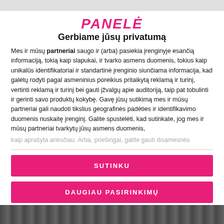PANELĖ
Gerbiame jūsų privatumą
Mes ir mūsų partneriai saugo ir (arba) pasiekia įrenginyje esančią informaciją, tokią kaip slapukai, ir tvarko asmens duomenis, tokius kaip unikalūs identifikatoriai ir standartinė įrenginio siunčiama informacija, kad galėtų rodyti pagal asmeninius poreikius pritaikytą reklamą ir turinį, vertinti reklamą ir turinį bei gauti įžvalgų apie auditoriją, taip pat tobulinti ir gerinti savo produktų kokybę. Gavę jūsų sutikimą mes ir mūsų partneriai gali naudoti tikslius geografinės padėties ir identifikavimo duomenis nuskaitę įrenginį. Galite spustelėti, kad sutinkate, jog mes ir mūsų partneriai tvarkytų jūsų asmens duomenis,
kaip aprašyta anksčiau. Arba, priešingai, galite gauti išsamesnės
SUTINKU
DAUGIAU PASIRINKIMŲ